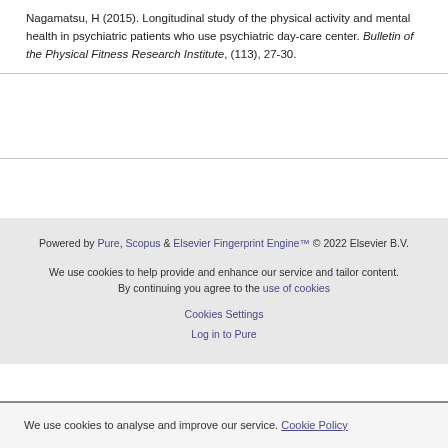Nagamatsu, H (2015). Longitudinal study of the physical activity and mental health in psychiatric patients who use psychiatric day-care center. Bulletin of the Physical Fitness Research Institute, (113), 27-30.
Powered by Pure, Scopus & Elsevier Fingerprint Engine™ © 2022 Elsevier B.V.
We use cookies to help provide and enhance our service and tailor content. By continuing you agree to the use of cookies
Cookies Settings
Log in to Pure
We use cookies to analyse and improve our service. Cookie Policy